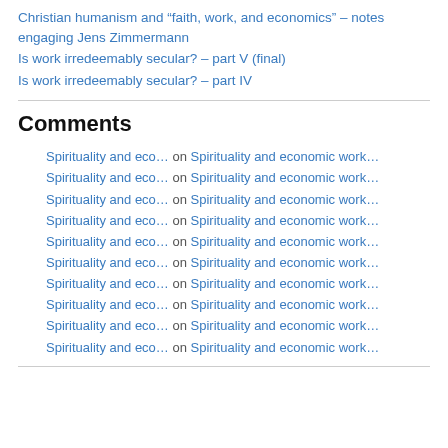Christian humanism and “faith, work, and economics” – notes engaging Jens Zimmermann
Is work irredeemably secular? – part V (final)
Is work irredeemably secular? – part IV
Comments
Spirituality and eco… on Spirituality and economic work…
Spirituality and eco… on Spirituality and economic work…
Spirituality and eco… on Spirituality and economic work…
Spirituality and eco… on Spirituality and economic work…
Spirituality and eco… on Spirituality and economic work…
Spirituality and eco… on Spirituality and economic work…
Spirituality and eco… on Spirituality and economic work…
Spirituality and eco… on Spirituality and economic work…
Spirituality and eco… on Spirituality and economic work…
Spirituality and eco… on Spirituality and economic work…